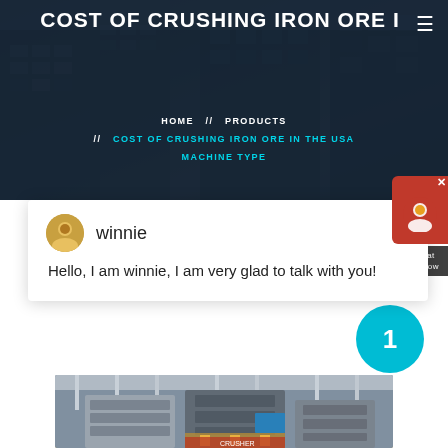COST OF CRUSHING IRON ORE I
HOME // PRODUCTS // COST OF CRUSHING IRON ORE IN THE USA MACHINE TYPE
winnie
Hello, I am winnie, I am very glad to talk with you!
[Figure (photo): Industrial iron ore crushing machine in a factory setting, viewed from front-left angle]
1